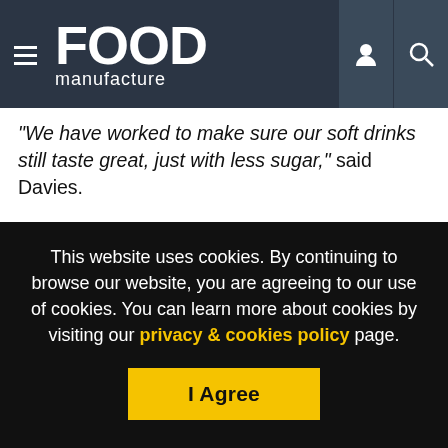FOOD manufacture
“We have worked to make sure our soft drinks still taste great, just with less sugar,” said Davies.
“Tesco customers are now consuming on average over 20% less sugar from our soft drinks than in 2011. We’re hoping this initiative will help make it a little easier for our customers to live more healthily.”
Since 2011, Tesco has reduced the amount of sugar in its range of 251 soft drinks to less than 5g per 100ml
This website uses cookies. By continuing to browse our website, you are agreeing to our use of cookies. You can learn more about cookies by visiting our privacy & cookies policy page.